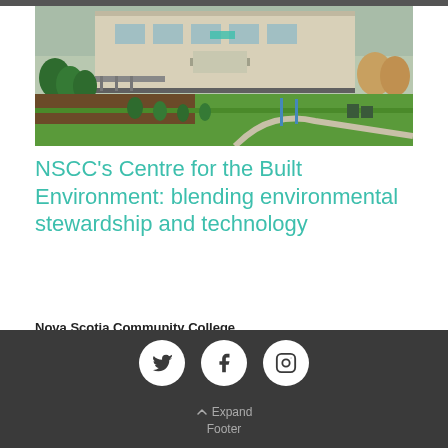[Figure (photo): Exterior photo of NSCC Centre for the Built Environment building with green lawn, trees, and walkways on Halifax Harbour Waterfront Campus]
NSCC’s Centre for the Built Environment: blending environmental stewardship and technology
Nova Scotia Community College
Situated on Halifax Harbour—part of Nova Scotia Community College’s Waterfront Campus—is the LEED– BOMA BESt
Social icons: Twitter, Facebook, Instagram | Expand Footer